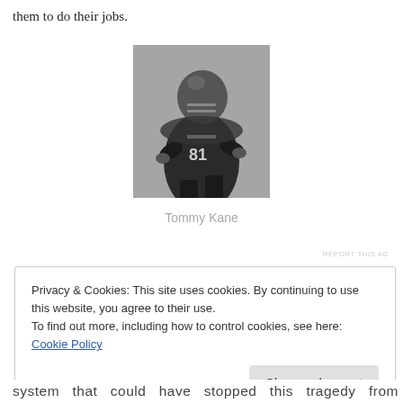them to do their jobs.
[Figure (photo): Black and white photo of football player Tommy Kane wearing jersey number 81, in a crouching athletic stance on the field.]
Tommy Kane
REPORT THIS AD
Privacy & Cookies: This site uses cookies. By continuing to use this website, you agree to their use.
To find out more, including how to control cookies, see here: Cookie Policy
Close and accept
system that could have stopped this tragedy from